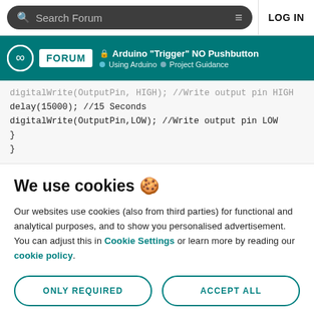Search Forum   LOG IN
Arduino "Trigger" NO Pushbutton | Using Arduino | Project Guidance
digitalWrite(OutputPin, HIGH); //Write output pin HIGH
delay(15000); //15 Seconds
digitalWrite(OutputPin,LOW); //Write output pin LOW
}
}
We use cookies 🍪
Our websites use cookies (also from third parties) for functional and analytical purposes, and to show you personalised advertisement. You can adjust this in Cookie Settings or learn more by reading our cookie policy.
ONLY REQUIRED   ACCEPT ALL